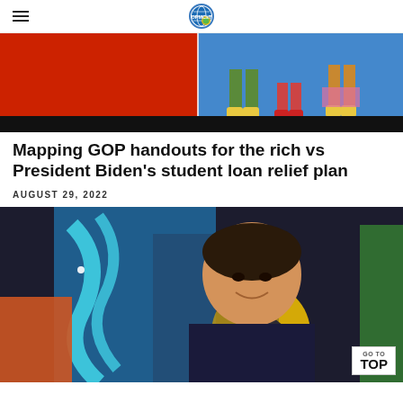OPMCast logo / navigation header
[Figure (illustration): Split image: left half solid red rectangle, right half blue background with Simpsons cartoon characters (legs visible)]
[Figure (illustration): Black banner strip below the Simpsons image]
Mapping GOP handouts for the rich vs President Biden's student loan relief plan
AUGUST 29, 2022
[Figure (photo): Portrait photo of a smiling man in a dark shirt against a colorful mural background with blue, yellow and orange shapes. A 'GO TO TOP' button is visible in the bottom right corner.]